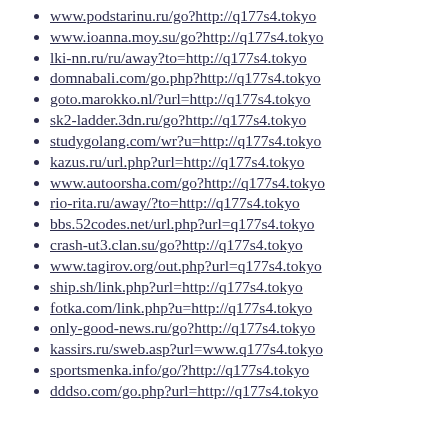www.podstarinu.ru/go?http://q177s4.tokyo
www.ioanna.moy.su/go?http://q177s4.tokyo
lki-nn.ru/ru/away?to=http://q177s4.tokyo
domnabali.com/go.php?http://q177s4.tokyo
goto.marokko.nl/?url=http://q177s4.tokyo
sk2-ladder.3dn.ru/go?http://q177s4.tokyo
studygolang.com/wr?u=http://q177s4.tokyo
kazus.ru/url.php?url=http://q177s4.tokyo
www.autoorsha.com/go?http://q177s4.tokyo
rio-rita.ru/away/?to=http://q177s4.tokyo
bbs.52codes.net/url.php?url=q177s4.tokyo
crash-ut3.clan.su/go?http://q177s4.tokyo
www.tagirov.org/out.php?url=q177s4.tokyo
ship.sh/link.php?url=http://q177s4.tokyo
fotka.com/link.php?u=http://q177s4.tokyo
only-good-news.ru/go?http://q177s4.tokyo
kassirs.ru/sweb.asp?url=www.q177s4.tokyo
sportsmenka.info/go/?http://q177s4.tokyo
dddso.com/go.php?url=http://q177s4.tokyo